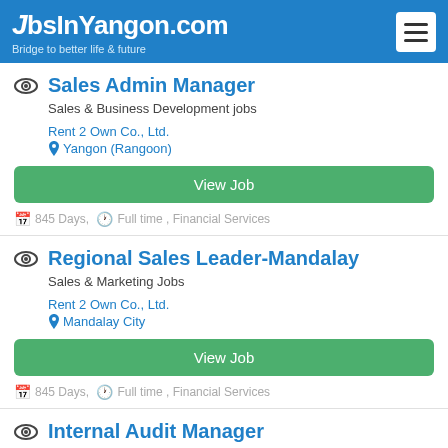JobsInYangon.com — Bridge to better life & future
Sales Admin Manager
Sales & Business Development jobs
Rent 2 Own Co., Ltd.
Yangon (Rangoon)
View Job
845 Days, Full time , Financial Services
Regional Sales Leader-Mandalay
Sales & Marketing Jobs
Rent 2 Own Co., Ltd.
Mandalay City
View Job
845 Days, Full time , Financial Services
Internal Audit Manager
Audit & Taxation Jobs
Rent 2 Own Co., Ltd.